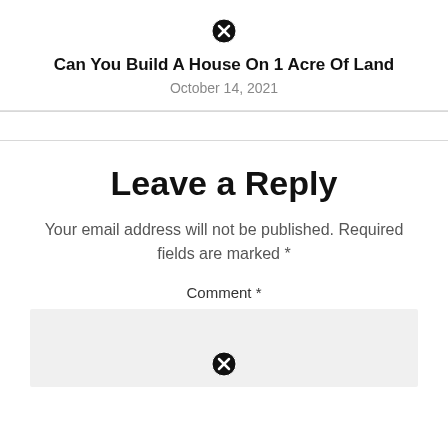[Figure (other): Close/cancel icon (circled X) at top of card]
Can You Build A House On 1 Acre Of Land
October 14, 2021
Leave a Reply
Your email address will not be published. Required fields are marked *
Comment *
[Figure (other): Close/cancel icon (circled X) inside comment text area box]